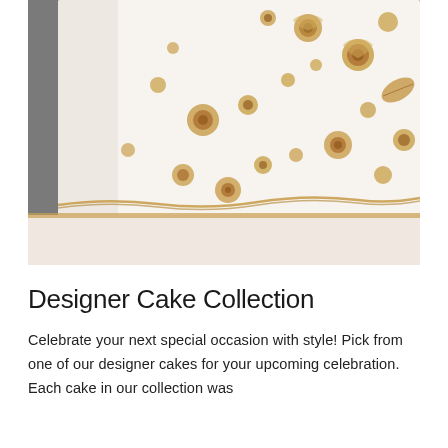[Figure (photo): Close-up photograph of a white fondant cake tier decorated with numerous gold metallic sugar flowers, roses, leaves, and floral embellishments arranged in a cascading pattern. The cake has a gold-edged border at the base of the tier. Background is dark gray.]
Designer Cake Collection
Celebrate your next special occasion with style! Pick from one of our designer cakes for your upcoming celebration. Each cake in our collection was